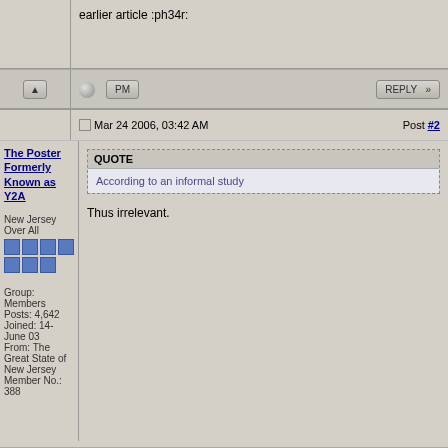earlier article :ph34r:
The Poster Formerly Known as Y2A
Mar 24 2006, 03:42 AM
Post #2
New Jersey Over All
Group: Members
Posts: 4,642
Joined: 14-June 03
From: The Great State of New Jersey
Member No.: 388
QUOTE
According to an informal study
Thus irrelevant.